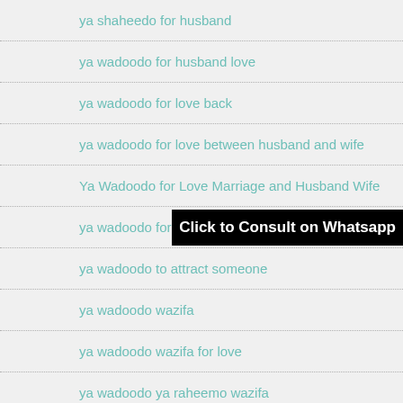ya shaheedo for husband
ya wadoodo for husband love
ya wadoodo for love back
ya wadoodo for love between husband and wife
Ya Wadoodo for Love Marriage and Husband Wife
ya wadoodo for marriage
ya wadoodo to attract someone
ya wadoodo wazifa
ya wadoodo wazifa for love
ya wadoodo ya raheemo wazifa